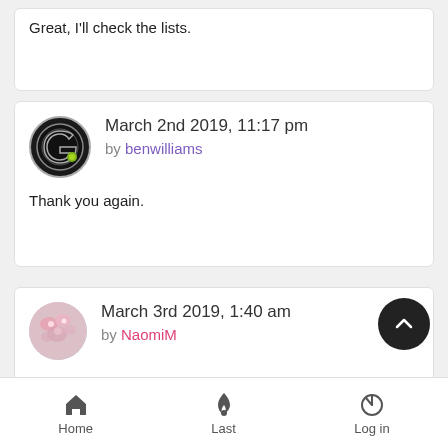Great, I'll check the lists.
March 2nd 2019, 11:17 pm by benwilliams
Thank you again.
March 3rd 2019, 1:40 am by NaomiM
Looks familiar; AT mark and G mark. I thought Wye Pottery but can't match the mark.
Home  Last  Log in